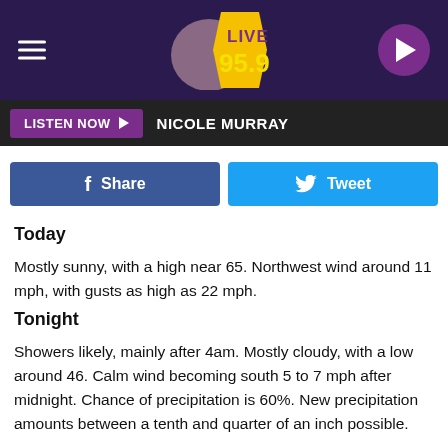[Figure (screenshot): Radio station Live 95.9 header banner with hamburger menu icon on left, logo in center, and purple play button on right]
LISTEN NOW ▶  NICOLE MURRAY
[Figure (infographic): Social sharing buttons: Facebook Share (blue) and Tweet (light blue)]
Today
Mostly sunny, with a high near 65. Northwest wind around 11 mph, with gusts as high as 22 mph.
Tonight
Showers likely, mainly after 4am. Mostly cloudy, with a low around 46. Calm wind becoming south 5 to 7 mph after midnight. Chance of precipitation is 60%. New precipitation amounts between a tenth and quarter of an inch possible.